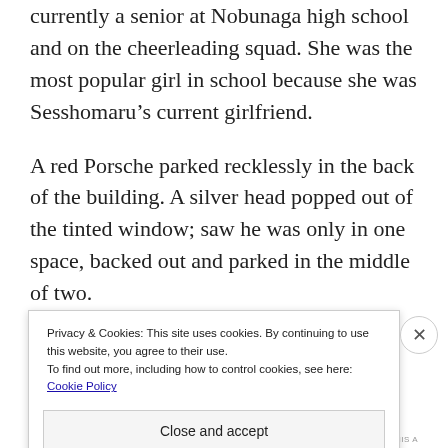currently a senior at Nobunaga high school and on the cheerleading squad. She was the most popular girl in school because she was Sesshomaru's current girlfriend.
A red Porsche parked recklessly in the back of the building. A silver head popped out of the tinted window; saw he was only in one space, backed out and parked in the middle of two.
Privacy & Cookies: This site uses cookies. By continuing to use this website, you agree to their use.
To find out more, including how to control cookies, see here: Cookie Policy
Close and accept